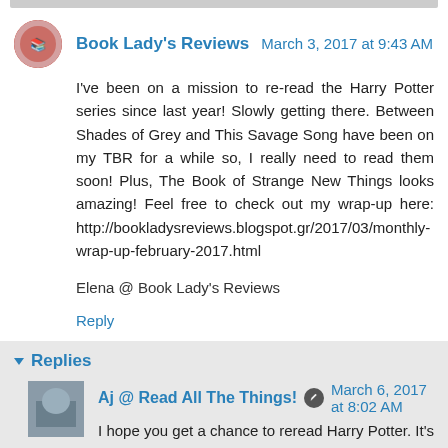Book Lady's Reviews  March 3, 2017 at 9:43 AM
I've been on a mission to re-read the Harry Potter series since last year! Slowly getting there. Between Shades of Grey and This Savage Song have been on my TBR for a while so, I really need to read them soon! Plus, The Book of Strange New Things looks amazing! Feel free to check out my wrap-up here: http://bookladysreviews.blogspot.gr/2017/03/monthly-wrap-up-february-2017.html
Elena @ Book Lady's Reviews
Reply
Replies
Aj @ Read All The Things!  March 6, 2017 at 8:02 AM
I hope you get a chance to reread Harry Potter. It's totally worth it. The books are just as good as